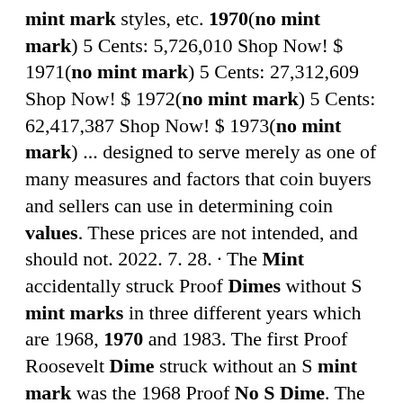mint mark styles, etc. 1970(no mint mark) 5 Cents: 5,726,010 Shop Now! $ 1971(no mint mark) 5 Cents: 27,312,609 Shop Now! $ 1972(no mint mark) 5 Cents: 62,417,387 Shop Now! $ 1973(no mint mark) ... designed to serve merely as one of many measures and factors that coin buyers and sellers can use in determining coin values. These prices are not intended, and should not. 2022. 7. 28. · The Mint accidentally struck Proof Dimes without S mint marks in three different years which are 1968, 1970 and 1983. The first Proof Roosevelt Dime struck without an S mint mark was the 1968 Proof No S Dime. The 1968 Proof No S Dime is the scarcest of all three different No S Proof Dimes struck, as there are probably about a dozen or less known. 1978 dime no mint mark ; 10 de junho de ... CoinTrackers.com estimates the value of a 1970 Washington Quarter